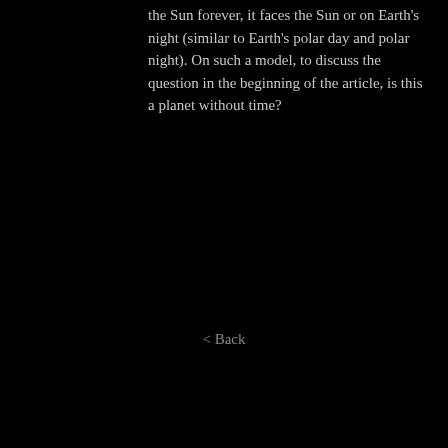the Sun forever, it faces the Sun or on Earth's night (similar to Earth's polar day and polar night). On such a model, to discuss the question in the beginning of the article, is this a planet without time?
< Back